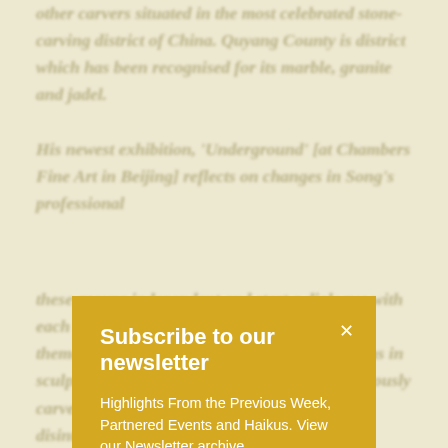other carvers situated in the most celebrated stone-carving district of China. Quyang County is district which has been recognised for its marble, granite and jadel.
His newest exhibition, 'Underground' [at Chambers Fine Art in Beijing] reflects on changes in Song's professional
Subscribe to our newsletter
Highlights From the Previous Week, Partnered Events and Haikus. View our Newsletter archive
Your Email address
these groups independent and start a dialogue with each other. Within Re-Sculpting, the theme the theme of the disintegration of Western traditions in sculpture is introduces through Song's meticulously carved bluestone replicas of abandoned and disintegrating copies of landmarks of Western sculpture such as Michelangelo's David, Houdon's bust of Voltaire and the Roman bust of